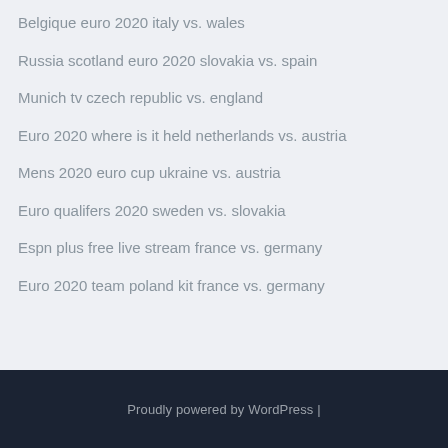Belgique euro 2020 italy vs. wales
Russia scotland euro 2020 slovakia vs. spain
Munich tv czech republic vs. england
Euro 2020 where is it held netherlands vs. austria
Mens 2020 euro cup ukraine vs. austria
Euro qualifers 2020 sweden vs. slovakia
Espn plus free live stream france vs. germany
Euro 2020 team poland kit france vs. germany
Proudly powered by WordPress |